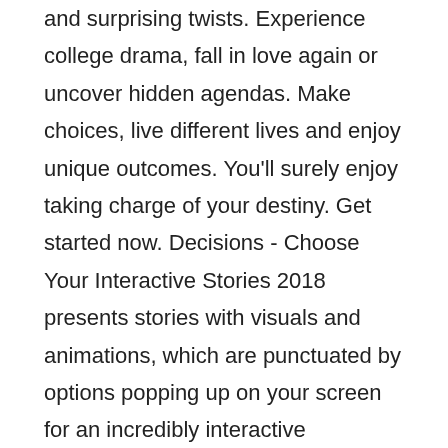and surprising twists. Experience college drama, fall in love again or uncover hidden agendas. Make choices, live different lives and enjoy unique outcomes. You'll surely enjoy taking charge of your destiny. Get started now. Decisions - Choose Your Interactive Stories 2018 presents stories with visuals and animations, which are punctuated by options popping up on your screen for an incredibly interactive experience that will hook you from the start of every episode, right to the end. Download Decisions - Choose Your Interactive Stories 2018 free from the Google Playstore and immerse in some of the most impressive stories you'll ever lay your eyes on!Features: Customize your character. Exciting dress up options. Several genres to choose from. Make your decisions in visually engaging stories. The game is available in Portuguese, French, Spanish and Italian.The choice is always yours to make. Yours decisions will turn these interactive stories into your very own unique stories. With our amazing character customization options, you can design your looks and create your version of the